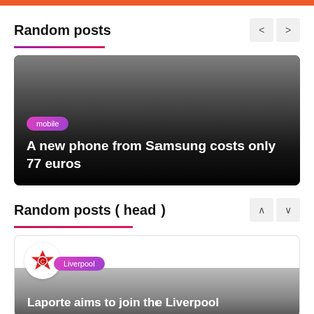Random posts
[Figure (illustration): Card with gradient dark background, 'mobile' pill tag, and headline: A new phone from Samsung costs only 77 euros]
Random posts ( head )
[Figure (illustration): Card with white background, circular avatar icon, 'Liverpool' pill tag, and partial headline: Laporte aims to join the Liverpool]